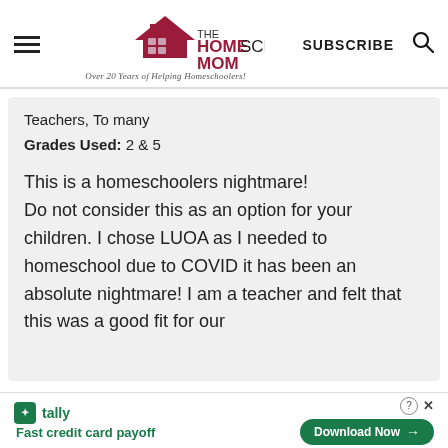[Figure (logo): The HomeSchool Mom logo with house icon and tagline 'Over 20 Years of Helping Homeschoolers!']
Teachers, To many
Grades Used: 2 & 5
This is a homeschoolers nightmare!
Do not consider this as an option for your children. I chose LUOA as I needed to homeschool due to COVID it has been an absolute nightmare! I am a teacher and felt that this was a good fit for our
[Figure (screenshot): Tally ad banner: Fast credit card payoff. Download Now button.]